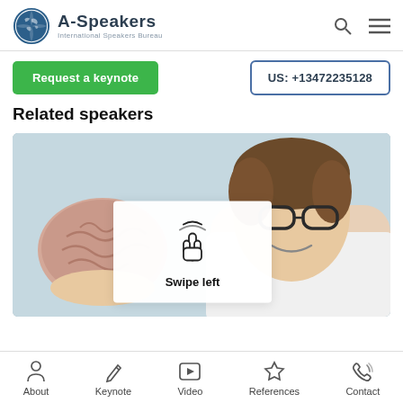A-Speakers International Speakers Bureau
Request a keynote
US: +13472235128
Related speakers
[Figure (photo): A smiling man with glasses and curly hair holding a brain model, wearing a white coat. A 'Swipe left' tooltip overlay with a hand/swipe icon is in the center of the image.]
About | Keynote | Video | References | Contact